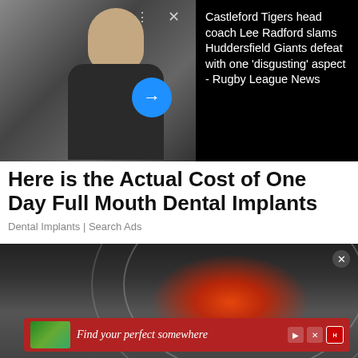[Figure (photo): Photo of a man in a dark jacket looking to the side, with a blue circle arrow button overlay and dots/X icons. Dark background.]
Castleford Tigers head coach Lee Radford slams Huddersfield Giants defeat with one 'disgusting' aspect - Rugby League News
Here is the Actual Cost of One Day Full Mouth Dental Implants
Dental Implants | Search Ads
[Figure (photo): Close-up photo showing a person's hip/lower body area with a red glowing pain indicator and circular ripple effects. A small close button (X) is visible top right. A red advertisement banner at the bottom reads 'Find your perfect somewhere' with a thumbnail image and media icons.]